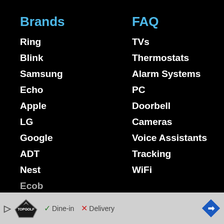Brands
Ring
Blink
Samsung
Echo
Apple
LG
Google
ADT
Nest
Ecob
FAQ
TVs
Thermostats
Alarm Systems
PC
Doorbell
Cameras
Voice Assistants
Tracking
WiFi
Dine-in  Delivery